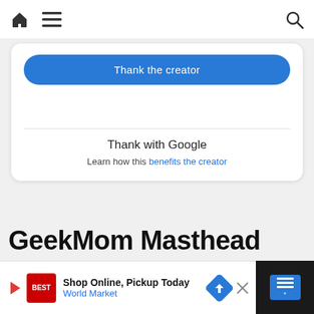Navigation bar with home icon, hamburger menu, and search icon
[Figure (screenshot): A card UI element containing a blue 'Thank the creator' button, a divider, and 'Thank with Google' section with a link 'benefits the creator']
GeekMom Masthead
Editor-in-Chief
Jenny Bristol
[Figure (infographic): Advertisement bar: Play icon, BestBuy logo, 'Shop Online, Pickup Today / World Market' text, a blue diamond directional road sign arrow icon, and a close X button. Right side has a dark panel with a blue scroll-to-top button showing three bars and a degree symbol.]